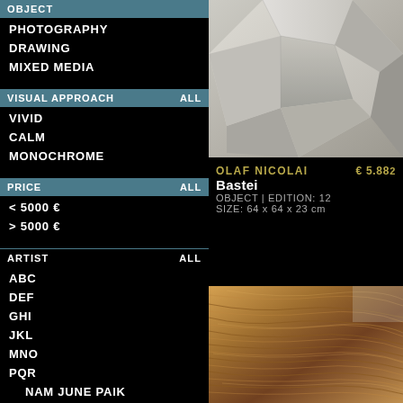OBJECT
PHOTOGRAPHY
DRAWING
MIXED MEDIA
VISUAL APPROACH  ALL
VIVID
CALM
MONOCHROME
PRICE  ALL
< 5000 €
> 5000 €
ARTIST  ALL
ABC
DEF
GHI
JKL
MNO
PQR
NAM JUNE PAIK
MARTIN PARR
[Figure (photo): White geometric sculpture with angular faceted surfaces, cropped top right]
OLAF NICOLAI  € 5.882
Bastei
OBJECT | EDITION: 12
SIZE: 64 x 64 x 23 cm
[Figure (photo): Close-up photograph of hair or fur texture, warm brown tones, bottom right]